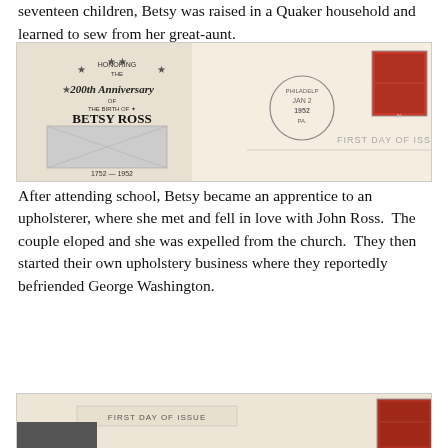seventeen children, Betsy was raised in a Quaker household and learned to sew from her great-aunt.
[Figure (photo): First Day of Issue envelope honoring the 200th Anniversary of the Birth of Betsy Ross, 1752–1952, postmarked Philadelphia, JAN 2, 1952, PA, with a red commemorative stamp and 'FIRST DAY OF ISSUE' text.]
After attending school, Betsy became an apprentice to an upholsterer, where she met and fell in love with John Ross.  The couple eloped and she was expelled from the church.  They then started their own upholstery business where they reportedly befriended George Washington.
[Figure (photo): Partial view of another First Day of Issue envelope with 'FIRST DAY OF ISSUE' text visible and a red stamp at the right edge.]